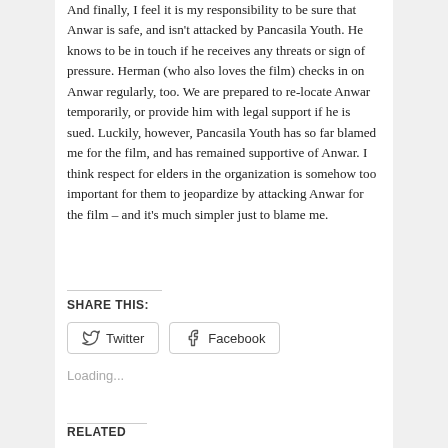And finally, I feel it is my responsibility to be sure that Anwar is safe, and isn't attacked by Pancasila Youth. He knows to be in touch if he receives any threats or sign of pressure. Herman (who also loves the film) checks in on Anwar regularly, too. We are prepared to re-locate Anwar temporarily, or provide him with legal support if he is sued. Luckily, however, Pancasila Youth has so far blamed me for the film, and has remained supportive of Anwar. I think respect for elders in the organization is somehow too important for them to jeopardize by attacking Anwar for the film – and it's much simpler just to blame me.
SHARE THIS:
Twitter
Facebook
Loading...
RELATED